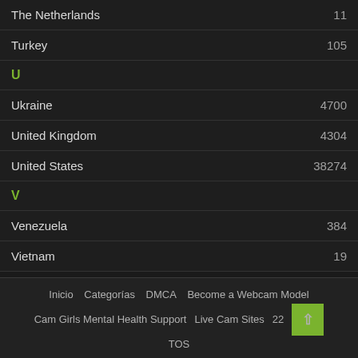The Netherlands 11
Turkey 105
U
Ukraine 4700
United Kingdom 4304
United States 38274
V
Venezuela 384
Vietnam 19
Inicio   Categorías   DMCA   Become a Webcam Model   Cam Girls Mental Health Support   Live Cam Sites   22   TOS